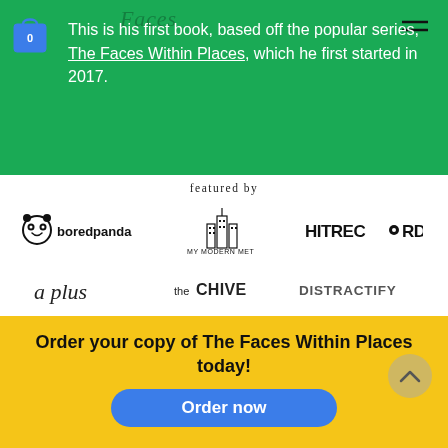This is his first book, based off the popular series, The Faces Within Places, which he first started in 2017.
featured by
[Figure (logo): Logos of: boredpanda, My Modern Met, HITRECORD, a plus, the CHIVE, DISTRACTIFY, deMilked, 9GAG, Esquire]
Order your copy of The Faces Within Places today!
Order now